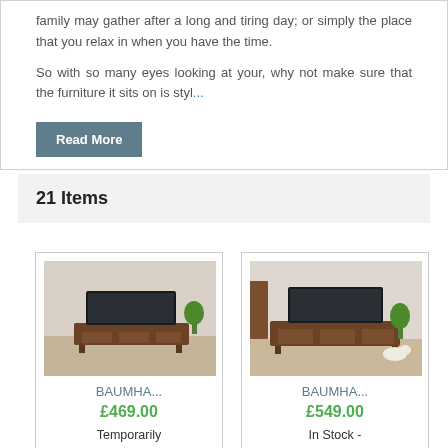family may gather after a long and tiring day; or simply the place that you relax in when you have the time.

So with so many eyes looking at your, why not make sure that the furniture it sits on is styl...
Read More
21 Items
[Figure (photo): Product photo of a wooden TV stand with TV on top, in a living room setting]
BAUMHA...
£469.00
Temporarily Out Of
[Figure (photo): Product photo of a wooden TV cabinet with TV on top, in a room setting with plants]
BAUMHA...
£549.00
In Stock - With Free